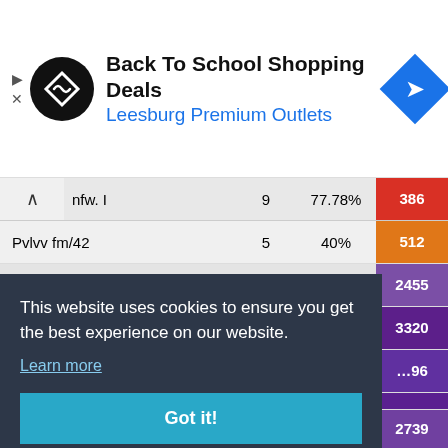[Figure (screenshot): Advertisement banner for Back To School Shopping Deals at Leesburg Premium Outlets with logo and navigation icon]
| Vehicle | Count | Percentage | Score |
| --- | --- | --- | --- |
| nfw. I | 9 | 77.78% | 386 |
| Pvlvv fm/42 | 5 | 40% | 512 |
| Prototipo Standard B | 133 | 60.9% | 2455 |
| Progetto M40 mod. 65 | 227 | 57.71% | 3320 |
| Panhard EBR 90 | 98 | 65.31% | 2739 |
This website uses cookies to ensure you get the best experience on our website.
Learn more
Got it!